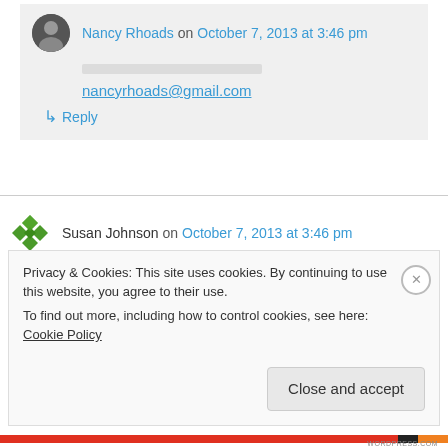Nancy Rhoads on October 7, 2013 at 3:46 pm
nancyrhoads@gmail.com
↳ Reply
Susan Johnson on October 7, 2013 at 3:46 pm
Wow — it's gorgeous!!
susanilene@aol.com
Privacy & Cookies: This site uses cookies. By continuing to use this website, you agree to their use. To find out more, including how to control cookies, see here: Cookie Policy
Close and accept